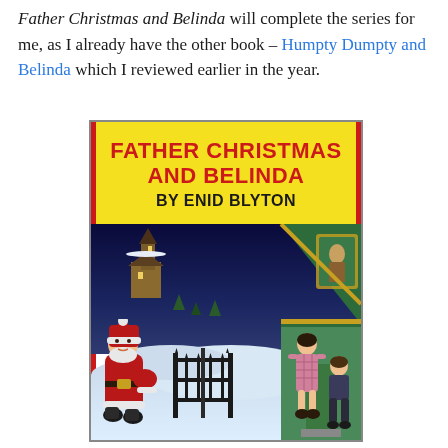Father Christmas and Belinda will complete the series for me, as I already have the other book – Humpty Dumpty and Belinda which I reviewed earlier in the year.
[Figure (photo): Book cover of 'Father Christmas and Belinda by Enid Blyton'. Yellow banner at top with red bold title text 'FATHER CHRISTMAS AND BELINDA' and below 'BY ENID BLYTON' in black bold text. The lower portion shows an illustrated scene: Santa Claus in red suit on the left approaching a gate, children greeting him on the right near a green-roofed house, with a snowy night landscape including a church and trees in the background.]